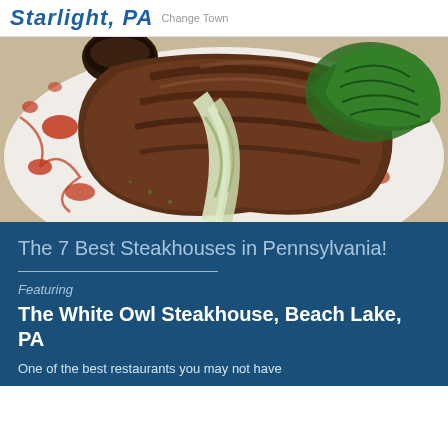Starlight, PA  Change Town
[Figure (photo): Close-up photo of a grilled steak with grilled green onion/leek and parsley garnish on a white plate with red sauce drizzle]
The 7 Best Steakhouses in Pennsylvania!
Featuring
The White Owl Steakhouse, Beach Lake, PA
One of the best restaurants you may not have